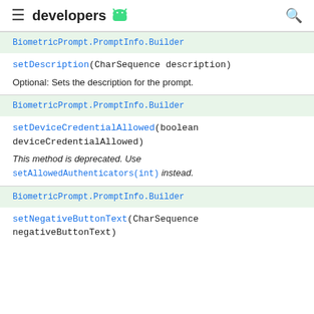developers
BiometricPrompt.PromptInfo.Builder
setDescription(CharSequence description)
Optional: Sets the description for the prompt.
BiometricPrompt.PromptInfo.Builder
setDeviceCredentialAllowed(boolean deviceCredentialAllowed)
This method is deprecated. Use setAllowedAuthenticators(int) instead.
BiometricPrompt.PromptInfo.Builder
setNegativeButtonText(CharSequence negativeButtonText)